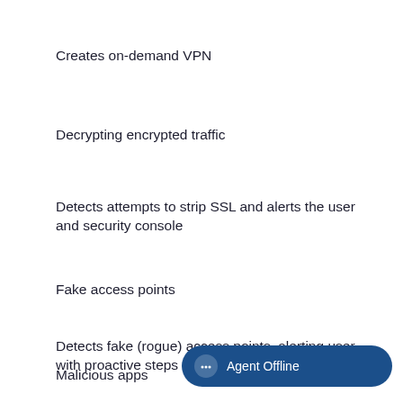Creates on-demand VPN
Decrypting encrypted traffic
Detects attempts to strip SSL and alerts the user and security console
Fake access points
Detects fake (rogue) access points, alerting user with proactive steps
Malicious apps